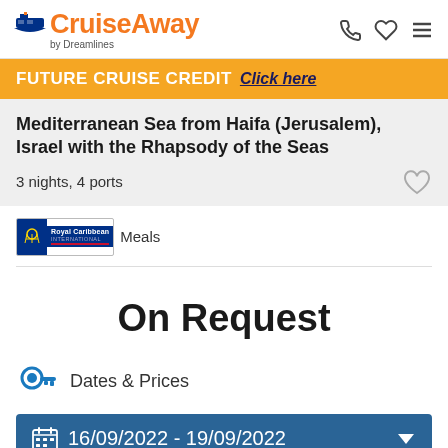CruiseAway by Dreamlines
FUTURE CRUISE CREDIT  Click here
Mediterranean Sea from Haifa (Jerusalem), Israel with the Rhapsody of the Seas
3 nights, 4 ports
[Figure (logo): Royal Caribbean International logo with Meals text]
On Request
Dates & Prices
16/09/2022 - 19/09/2022